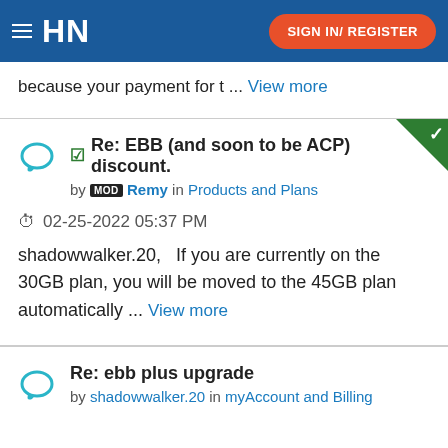HN | SIGN IN/ REGISTER
because your payment for t ... View more
Re: EBB (and soon to be ACP) discount. by MOD Remy in Products and Plans
02-25-2022 05:37 PM
shadowwalker.20,   If you are currently on the 30GB plan, you will be moved to the 45GB plan automatically ... View more
Re: ebb plus upgrade by shadowwalker.20 in myAccount and Billing